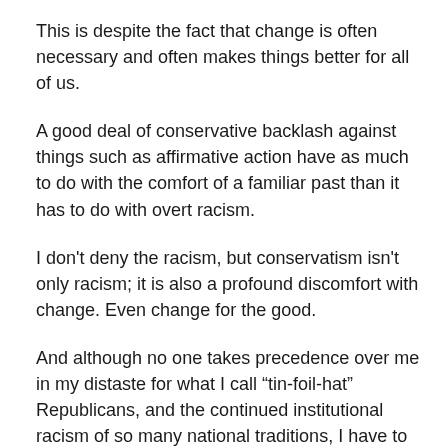This is despite the fact that change is often necessary and often makes things better for all of us.
A good deal of conservative backlash against things such as affirmative action have as much to do with the comfort of a familiar past than it has to do with overt racism.
I don't deny the racism, but conservatism isn't only racism; it is also a profound discomfort with change. Even change for the good.
And although no one takes precedence over me in my distaste for what I call “tin-foil-hat” Republicans, and the continued institutional racism of so many national traditions, I have to say that somewhere, deep down inside myself, I can have some inkling of understanding for the source of this disquiet.